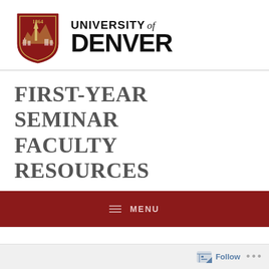[Figure (logo): University of Denver logo: crimson shield with '1864', mountains, and a spire; next to large text 'UNIVERSITY of DENVER']
FIRST-YEAR SEMINAR FACULTY RESOURCES
≡ MENU
Follow ...